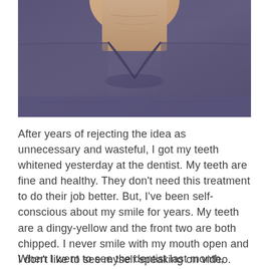[Figure (photo): Close-up photo of a person wearing a purple/dark lavender v-neck scrub top, showing the neck and upper chest area. The face is cropped out.]
After years of rejecting the idea as unnecessary and wasteful, I got my teeth whitened yesterday at the dentist. My teeth are fine and healthy. They don't need this treatment to do their job better. But, I've been self-conscious about my smile for years. My teeth are a dingy-yellow and the front two are both chipped. I never smile with my mouth open and I don't like to see myself speaking on video.
When I went to see the dentist last month,